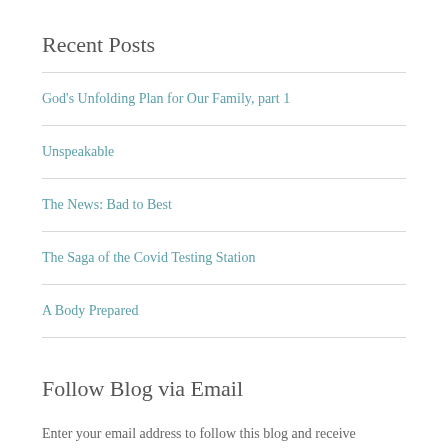Recent Posts
God's Unfolding Plan for Our Family, part 1
Unspeakable
The News: Bad to Best
The Saga of the Covid Testing Station
A Body Prepared
Follow Blog via Email
Enter your email address to follow this blog and receive notifications of new posts by email.